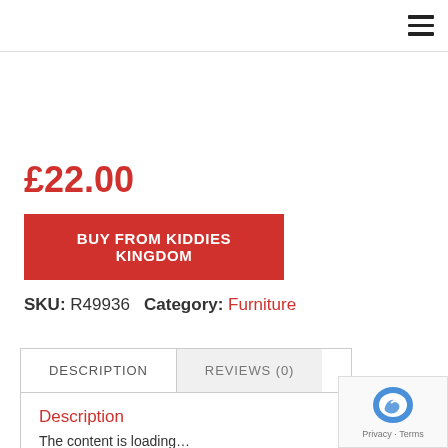☰
£22.00
BUY FROM KIDDIES KINGDOM
SKU: R49936  Category: Furniture
DESCRIPTION | REVIEWS (0)
Description
The content is loading...